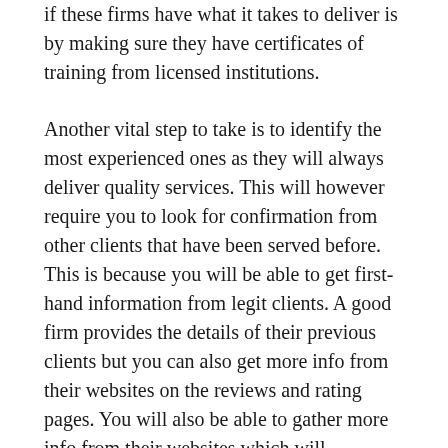if these firms have what it takes to deliver is by making sure they have certificates of training from licensed institutions.
Another vital step to take is to identify the most experienced ones as they will always deliver quality services. This will however require you to look for confirmation from other clients that have been served before. This is because you will be able to get first-hand information from legit clients. A good firm provides the details of their previous clients but you can also get more info from their websites on the reviews and rating pages. You will also be able to gather more info from their websites which will contribute majorly to your choice.
Businesses and companies nowadays have turned to online marketing and presentations as their main way or method of creating more client pools. This